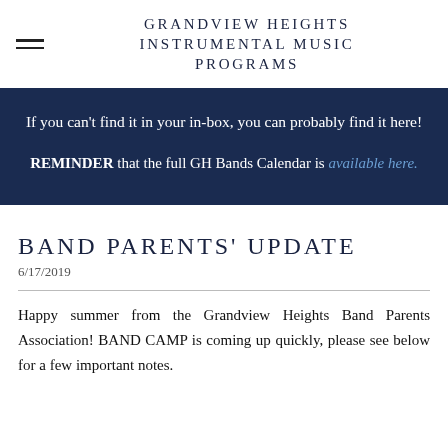GRANDVIEW HEIGHTS INSTRUMENTAL MUSIC PROGRAMS
If you can't find it in your in-box, you can probably find it here!
REMINDER that the full GH Bands Calendar is available here.
BAND PARENTS' UPDATE
6/17/2019
Happy summer from the Grandview Heights Band Parents Association! BAND CAMP is coming up quickly, please see below for a few important notes.